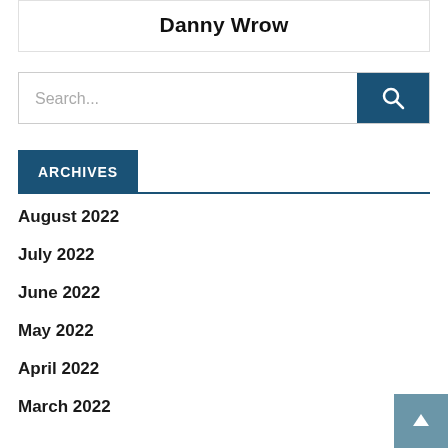Danny Wrow
Search...
ARCHIVES
August 2022
July 2022
June 2022
May 2022
April 2022
March 2022